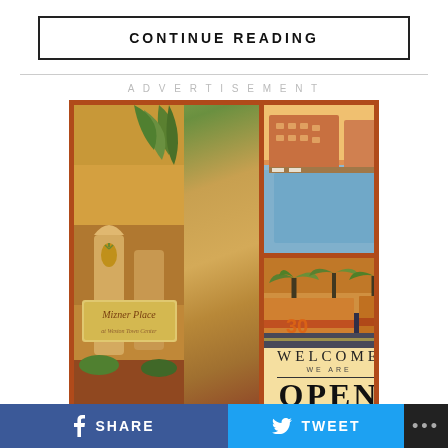CONTINUE READING
ADVERTISEMENT
[Figure (photo): Real estate advertisement for Mizner Place showing resort-style pool with buildings, palm trees, street scene, welcome open sign, and Mizner Place entrance sign]
SHARE
TWEET